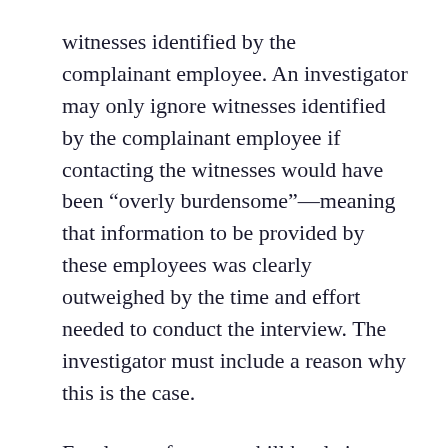witnesses identified by the complainant employee. An investigator may only ignore witnesses identified by the complainant employee if contacting the witnesses would have been “overly burdensome”—meaning that information to be provided by these employees was clearly outweighed by the time and effort needed to conduct the interview. The investigator must include a reason why this is the case.
Employees face an uphill battle in getting investigations completed by the agency. Unfortunately, it has in many instances become the job of the employee to hold the agency to account for investigators failing to do their job adequately. Fortunately, the EEOC is policing